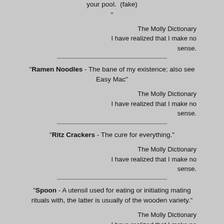your pool.  (fake)
"
The Molly Dictionary
I have realized that I make no sense.
"Ramen Noodles - The bane of my existence; also see Easy Mac"
The Molly Dictionary
I have realized that I make no sense.
"Ritz Crackers - The cure for everything."
The Molly Dictionary
I have realized that I make no sense.
"Spoon - A utensil used for eating or initiating mating rituals with, the latter is usually of the wooden variety."
The Molly Dictionary
I have realized that I make no sense.
"Vroom - An awesome, fast car or crotchrocket; if it goes